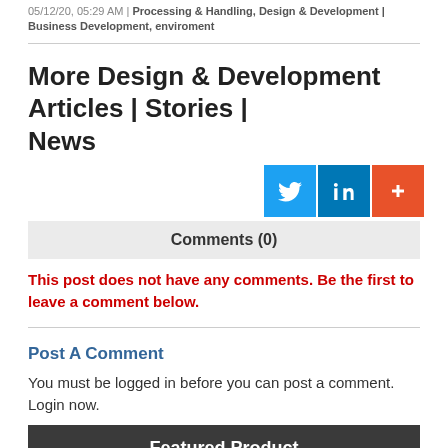05/12/20, 05:29 AM | Processing & Handling, Design & Development | Business Development, enviroment
More Design & Development Articles | Stories | News
[Figure (other): Social sharing buttons: Twitter (blue), LinkedIn (dark blue), plus/share (orange-red)]
Comments (0)
This post does not have any comments. Be the first to leave a comment below.
Post A Comment
You must be logged in before you can post a comment. Login now.
Featured Product